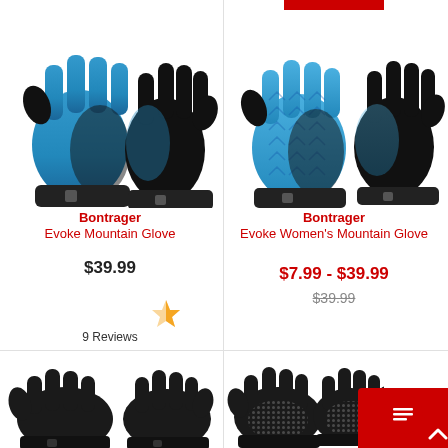[Figure (photo): Bontrager Evoke Mountain Glove - blue and black cycling gloves, pair shown front and back]
Bontrager
Evoke Mountain Glove
$39.99
[Figure (photo): Star rating graphic showing approximately 4.5 out of 5 stars in orange]
9 Reviews
[Figure (photo): Bontrager Evoke Women's Mountain Glove - blue patterned and black cycling gloves, pair shown]
Bontrager
Evoke Women's Mountain Glove
$7.99 - $39.99
$39.99
[Figure (photo): Black winter/thermal cycling gloves shown as a pair]
[Figure (photo): Black gloves with grippy palm texture shown as a pair]